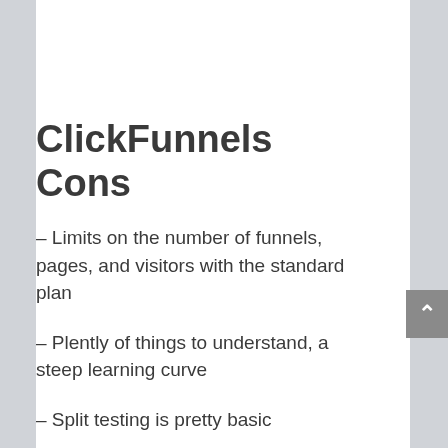ClickFunnels Cons
– Limits on the number of funnels, pages, and visitors with the standard plan
– Plently of things to understand, a steep learning curve
– Split testing is pretty basic